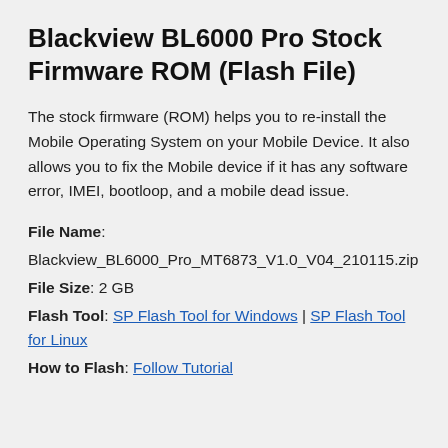Blackview BL6000 Pro Stock Firmware ROM (Flash File)
The stock firmware (ROM) helps you to re-install the Mobile Operating System on your Mobile Device. It also allows you to fix the Mobile device if it has any software error, IMEI, bootloop, and a mobile dead issue.
File Name: Blackview_BL6000_Pro_MT6873_V1.0_V04_210115.zip
File Size: 2 GB
Flash Tool: SP Flash Tool for Windows | SP Flash Tool for Linux
How to Flash: Follow Tutorial